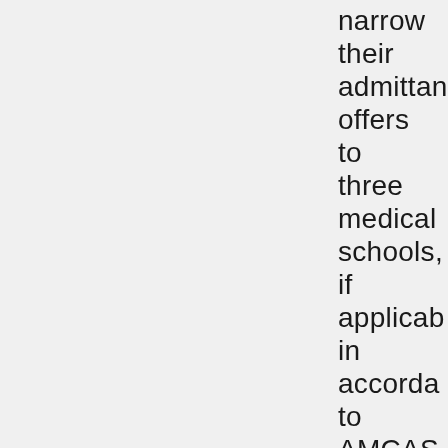narrow their admittance offers to three medical schools, if applicable in accordance to AMCAS protocols. Committee early allows us to build a